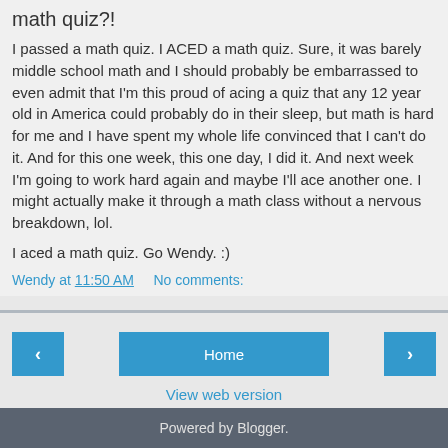math quiz?!
I passed a math quiz. I ACED a math quiz. Sure, it was barely middle school math and I should probably be embarrassed to even admit that I'm this proud of acing a quiz that any 12 year old in America could probably do in their sleep, but math is hard for me and I have spent my whole life convinced that I can't do it. And for this one week, this one day, I did it. And next week I'm going to work hard again and maybe I'll ace another one. I might actually make it through a math class without a nervous breakdown, lol.
I aced a math quiz. Go Wendy. :)
Wendy at 11:50 AM    No comments:
Home
View web version
Powered by Blogger.